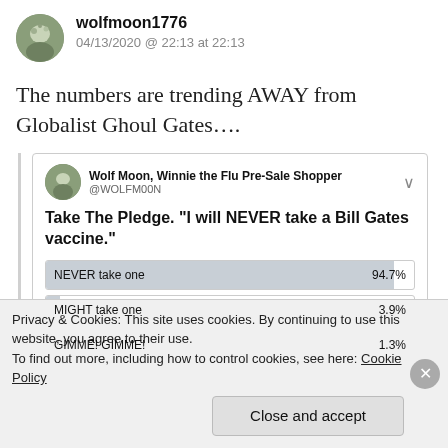wolfmoon1776
04/13/2020 @ 22:13 at 22:13
The numbers are trending AWAY from Globalist Ghoul Gates….
[Figure (screenshot): Embedded tweet from @WOLFM00N showing a poll: 'Take The Pledge. "I will NEVER take a Bill Gates vaccine."' with results: NEVER take one 94.7%, MIGHT take one 3.9%, GIMME! GIMME! 1.3%]
Privacy & Cookies: This site uses cookies. By continuing to use this website, you agree to their use.
To find out more, including how to control cookies, see here: Cookie Policy
Close and accept